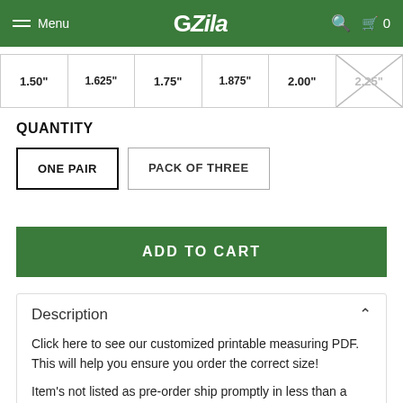Menu | GZila | 0
| 1.50" | 1.625" | 1.75" | 1.875" | 2.00" | 2.25" |
| --- | --- | --- | --- | --- | --- |
|  |
QUANTITY
ONE PAIR
PACK OF THREE
ADD TO CART
Description
Click here to see our customized printable measuring PDF. This will help you ensure you order the correct size!
Item's not listed as pre-order ship promptly in less than a week. If you need expedited shipping please email us info@ziladesigns.com